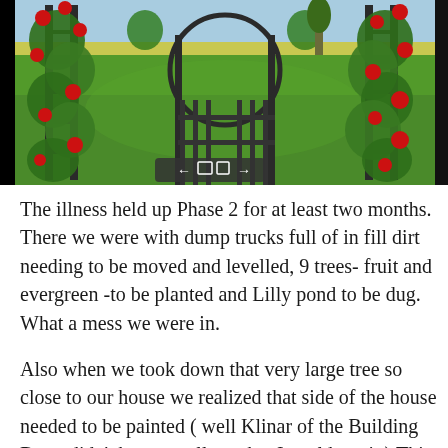[Figure (photo): A garden with a black metal arch/gate covered with red climbing roses and green foliage, opening to a lush green lawn with trees in the background. Navigation arrows visible at the bottom of the image.]
The illness held up Phase 2 for at least two months. There we were with dump trucks full of in fill dirt needing to be moved and levelled, 9 trees- fruit and evergreen -to be planted and Lilly pond to be dug. What a mess we were in.
Also when we took down that very large tree so close to our house we realized that side of the house needed to be painted ( well Klinar of the Building Dept. didn't have to tell me that I could see it.) This meant more expense as the